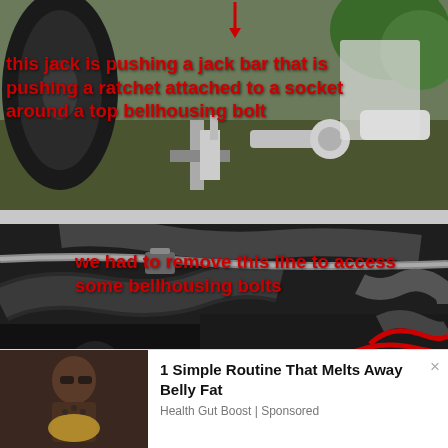[Figure (photo): Photo of a car jack pushing a jack bar connected to a ratchet with a socket around a bellhousing bolt, taken underneath a vehicle. Red text overlay describes the mechanical setup.]
[Figure (photo): Photo of an engine bay showing various hoses and lines. A red highlighted line indicates the component that had to be removed to access bellhousing bolts. Red arrow points to the relevant part.]
1 Simple Routine That Melts Away Belly Fat
Health Gut Boost | Sponsored